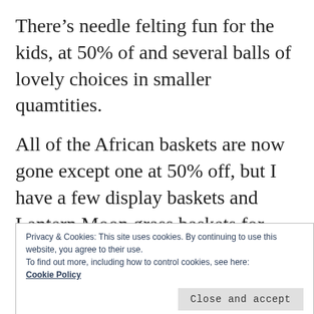There’s needle felting fun for the kids, at 50% of and several balls of lovely choices in smaller quamtities.
All of the African baskets are now gone except one at 50% off, but I have a few display baskets and Lantern Moon grass baskets for $10. Some seater samples still available at $15-$20.
Privacy & Cookies: This site uses cookies. By continuing to use this website, you agree to their use.
To find out more, including how to control cookies, see here: Cookie Policy
Close and accept
booklets are now $4.